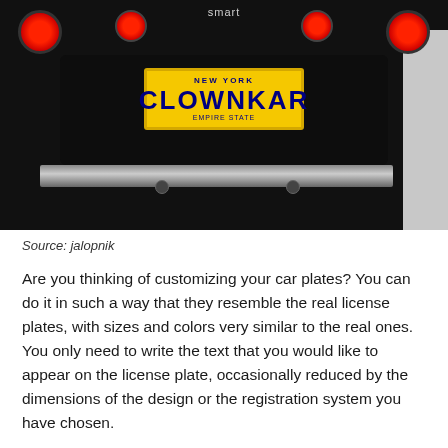[Figure (photo): Rear view of a black Smart car with a yellow New York license plate reading 'CLOWNKAR'. The car has two red circular tail lights on each side. The word 'smart' appears at the top center of the rear. A grey car is partially visible on the right.]
Source: jalopnik
Are you thinking of customizing your car plates? You can do it in such a way that they resemble the real license plates, with sizes and colors very similar to the real ones. You only need to write the text that you would like to appear on the license plate, occasionally reduced by the dimensions of the design or the registration system you have chosen.
You can create license plates from many countries and territories in the world, both standard and personalized license plates, as well as historical or unrecognized